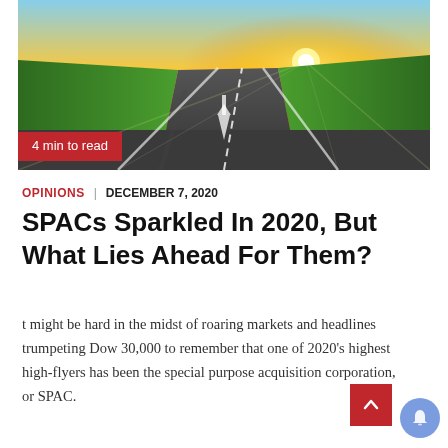[Figure (photo): Wide-angle photo of a highway road stretching into the horizon at sunset, with a white arrow painted on the road surface pointing forward. Green fields on either side, golden sunlight in the distance.]
4 min to read
OPINIONS | DECEMBER 7, 2020
SPACs Sparkled In 2020, But What Lies Ahead For Them?
t might be hard in the midst of roaring markets and headlines trumpeting Dow 30,000 to remember that one of 2020's highest high-flyers has been the special purpose acquisition corporation, or SPAC.